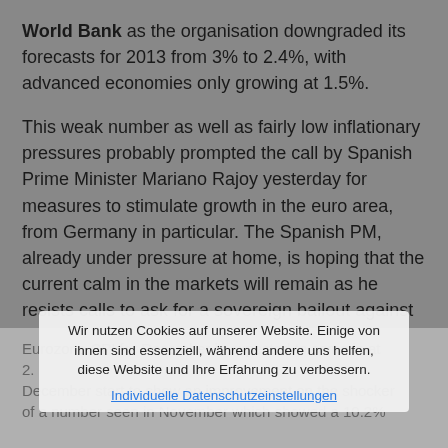World Bank as the organisation downgraded its forecasts for 2013 from 3% to 2.4%, with advanced economies only growing at 1.5%.
This weak number as well as fairly low inflationary pressures probably prompted the call by Spanish Prime Minister Mariano Rajoy yesterday for measures to stimulate growth in the euro area, from Germany in particular. The Spanish PM, already under pressure at home, is hoping that the current calm in the markets will remain as he resists calls to ask for a sovereign bailout against a backdrop of a shrinking economy and rising unemployment.
Eurozone CPI for December is expected to come in at 2. ... December start to show an improvement on the shocker of a number seen in November which showed a 10.2%...
Wir nutzen Cookies auf unserer Website. Einige von ihnen sind essenziell, während andere uns helfen, diese Website und Ihre Erfahrung zu verbessern.
Individuelle Datenschutzeinstellungen